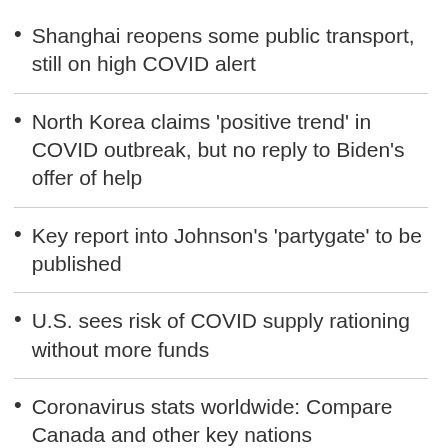Shanghai reopens some public transport, still on high COVID alert
North Korea claims 'positive trend' in COVID outbreak, but no reply to Biden's offer of help
Key report into Johnson's 'partygate' to be published
U.S. sees risk of COVID supply rationing without more funds
Coronavirus stats worldwide: Compare Canada and other key nations
Full coverage at CTVNews.ca/Coronavirus
Newsletter sign-up: Get The COVID-